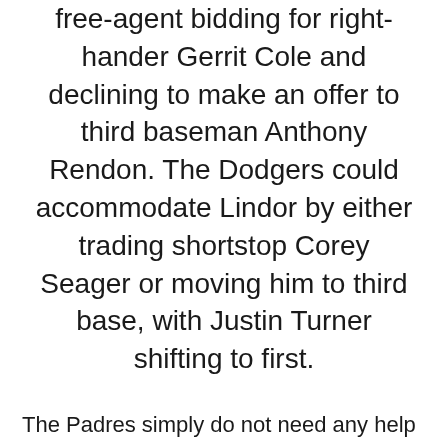free-agent bidding for right-hander Gerrit Cole and declining to make an offer to third baseman Anthony Rendon. The Dodgers could accommodate Lindor by either trading shortstop Corey Seager or moving him to third base, with Justin Turner shifting to first.
The Padres simply do not need any help on the left side of the infield with Manny Machado locked in at third base for another nine seasons and Fernando Tatis Jr. plugging the hole at shortstop for the foreseeable future.